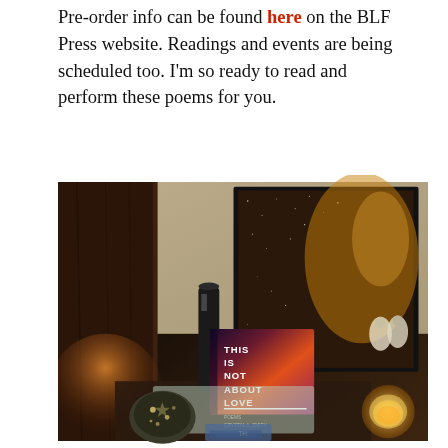Pre-order info can be found here on the BLF Press website. Readings and events are being scheduled too. I'm so ready to read and perform these poems for you.
[Figure (photo): A photograph of a bedside table scene showing a book titled 'THIS IS NOT ABOUT LOVE' by Crystal A. Smith, propped against a framed galaxy/space photograph. The table also has a decorative lantern, a candle, and some scattered items underneath warm dim lighting.]